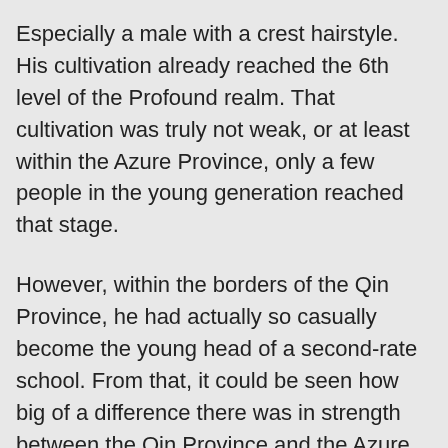Especially a male with a crest hairstyle. His cultivation already reached the 6th level of the Profound realm. That cultivation was truly not weak, or at least within the Azure Province, only a few people in the young generation reached that stage.
However, within the borders of the Qin Province, he had actually so casually become the young head of a second-rate school. From that, it could be seen how big of a difference there was in strength between the Qin Province and the Azure Province.
At that instant, Chu Feng originally wanted to immediately rush up to give a lesson to the young